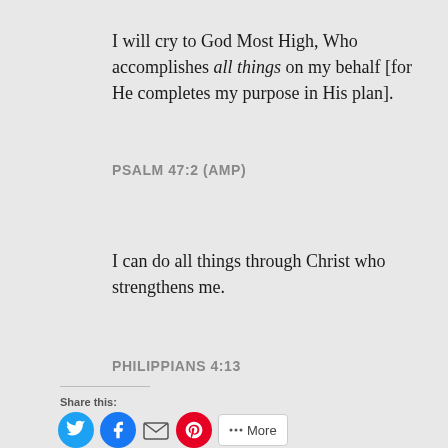I will cry to God Most High, Who accomplishes all things on my behalf [for He completes my purpose in His plan].
PSALM 47:2 (AMP)
I can do all things through Christ who strengthens me.
PHILIPPIANS 4:13
Share this:
[Figure (infographic): Social sharing icons: Twitter (blue circle), Facebook (blue circle), Email (envelope), Pinterest (red circle), More button]